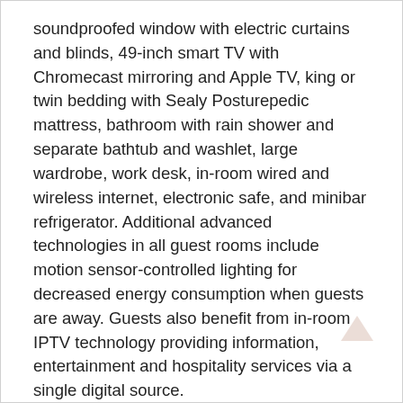soundproofed window with electric curtains and blinds, 49-inch smart TV with Chromecast mirroring and Apple TV, king or twin bedding with Sealy Posturepedic mattress, bathroom with rain shower and separate bathtub and washlet, large wardrobe, work desk, in-room wired and wireless internet, electronic safe, and minibar refrigerator. Additional advanced technologies in all guest rooms include motion sensor-controlled lighting for decreased energy consumption when guests are away. Guests also benefit from in-room IPTV technology providing information, entertainment and hospitality services via a single digital source.
Culinary excellence and more
Carlton hotels are highly regarded not only for their accommodation, facilities and services but